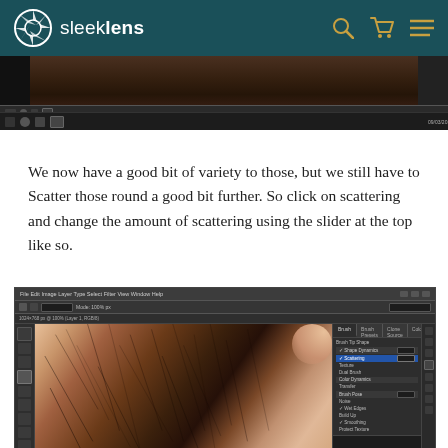sleeklens
[Figure (screenshot): Top portion of a Photoshop screenshot showing a close-up of facial hair/stubble, with taskbar at bottom]
We now have a good bit of variety to those, but we still have to Scatter those round a good bit further. So click on scattering and change the amount of scattering using the slider at the top like so.
[Figure (screenshot): Adobe Photoshop CS6 screenshot showing a close-up of facial hair/stubble being retouched, with Brush panel open on the right showing Scattering settings]